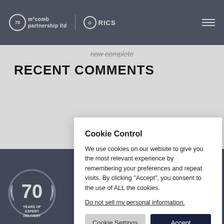McComb Partnership Ltd | RICS
now complete
RECENT COMMENTS
0208 308 0...
[Figure (logo): 70 years anniversary badge with laurel wreath and 'YEARS OF EXPERT DELIVERY' text]
partnership ltd
Cookie Control

We use cookies on our website to give you the most relevant experience by remembering your preferences and repeat visits. By clicking "Accept", you consent to the use of ALL the cookies.

Do not sell my personal information.